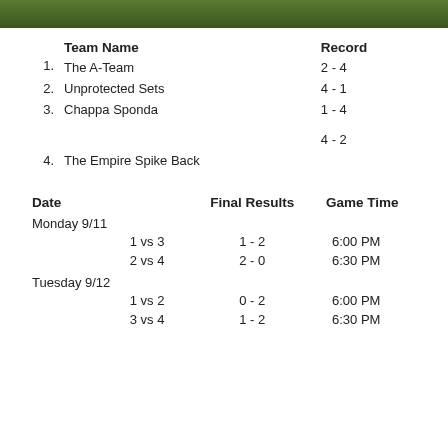[Figure (photo): Green grass/turf photo strip at top of page]
|  | Team Name | Record |
| --- | --- | --- |
| 1. | The A-Team | 2 - 4 |
| 2. | Unprotected Sets | 4 - 1 |
| 3. | Chappa Sponda | 1 - 4 |
| 4. | The Empire Spike Back | 4 - 2 |
| Date | Final Results | Game Time |
| --- | --- | --- |
| Monday 9/11 |  |  |
| 1 vs 3 | 1 - 2 | 6:00 PM |
| 2 vs 4 | 2 - 0 | 6:30 PM |
| Tuesday 9/12 |  |  |
| 1 vs 2 | 0 - 2 | 6:00 PM |
| 3 vs 4 | 1 - 2 | 6:30 PM |